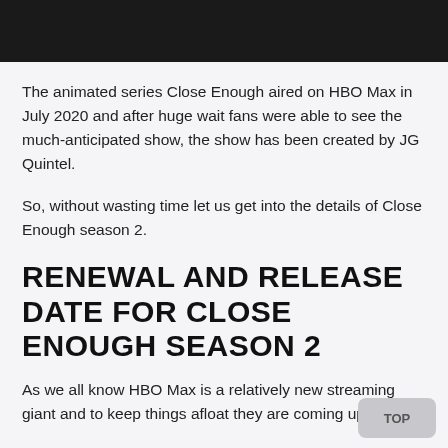[Figure (other): Black header bar at the top of the page]
The animated series Close Enough aired on HBO Max in July 2020 and after huge wait fans were able to see the much-anticipated show, the show has been created by JG Quintel.
So, without wasting time let us get into the details of Close Enough season 2.
RENEWAL AND RELEASE DATE FOR CLOSE ENOUGH SEASON 2
As we all know HBO Max is a relatively new streaming giant and to keep things afloat they are coming up with